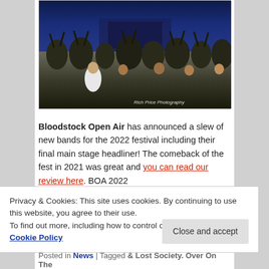[Figure (photo): Large crowd of concert-goers at Bloodstock Open Air festival, photographed at dusk/night with deep blue sky. Photo credit: Rich Price Photography]
Bloodstock Open Air has announced a slew of new bands for the 2022 festival including their final main stage headliner! The comeback of the fest in 2021 was great and you can read our review here. BOA 2022...
Privacy & Cookies: This site uses cookies. By continuing to use this website, you agree to their use.
To find out more, including how to control cookies, see here: Cookie Policy
Close and accept
Posted in News | Tagged & Lost Society. Over On The